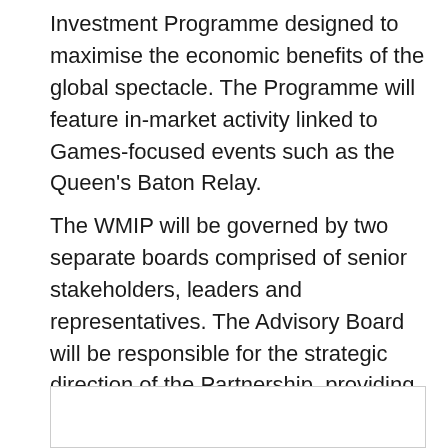Investment Programme designed to maximise the economic benefits of the global spectacle. The Programme will feature in-market activity linked to Games-focused events such as the Queen's Baton Relay.
The WMIP will be governed by two separate boards comprised of senior stakeholders, leaders and representatives. The Advisory Board will be responsible for the strategic direction of the Partnership, providing advice and guidance to the Executive Board, which will shape the planning and delivery of the programme's activity.